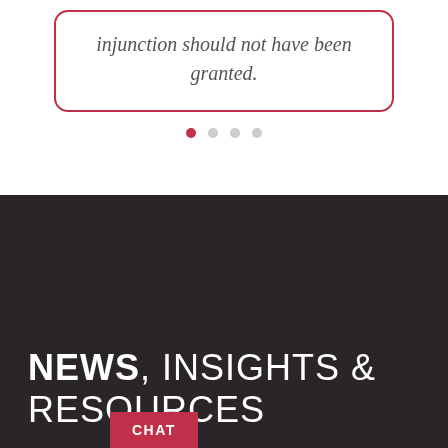injunction should not have been granted.
[Figure (other): Carousel pagination dots: one active (red/filled) and three inactive (gray/outline)]
NEWS, INSIGHTS & RESOURCES
CHAT